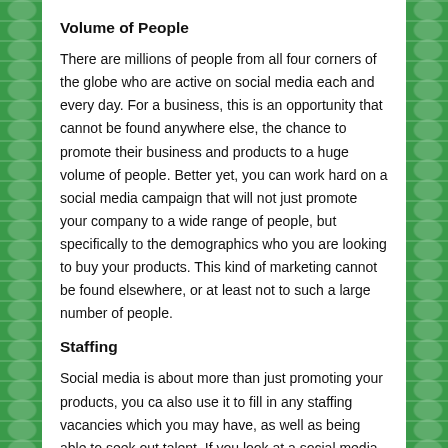Volume of People
There are millions of people from all four corners of the globe who are active on social media each and every day. For a business, this is an opportunity that cannot be found anywhere else, the chance to promote their business and products to a huge volume of people. Better yet, you can work hard on a social media campaign that will not just promote your company to a wide range of people, but specifically to the demographics who you are looking to buy your products. This kind of marketing cannot be found elsewhere, or at least not to such a large number of people.
Staffing
Social media is about more than just promoting your products, you ca also use it to fill in any staffing vacancies which you may have, as well as being able to seek out talent. If you look at a social media site such as LinkedIn, you can find a wide range of professionals for your position, as well as promoting